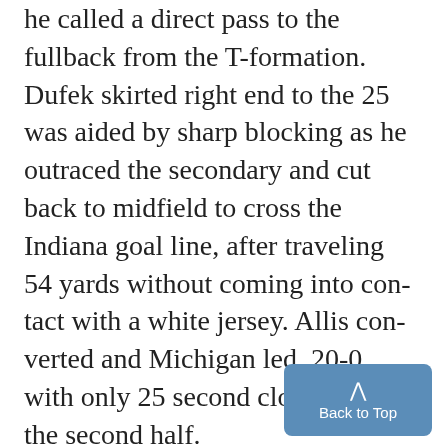he called a direct pass to the fullback from the T-formation. Dufek skirted right end to the 25 was aided by sharp blocking as he outraced the secondary and cut back to midfield to cross the Indiana goal line, after traveling 54 yards without coming into contact with a white jersey. Allis converted and Michigan led, 20-0, with only 25 second clocked out of the second half. ON THE NEXT series of plays, the Hoosiers marched 65 yards to